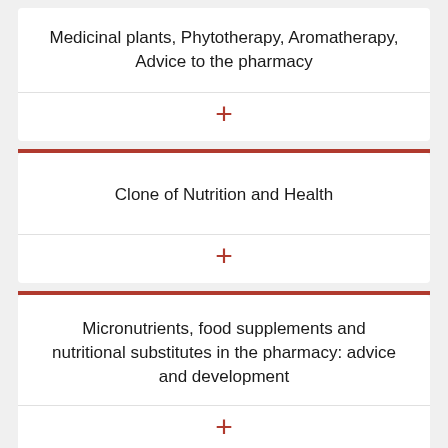Medicinal plants, Phytotherapy, Aromatherapy, Advice to the pharmacy
Clone of Nutrition and Health
Micronutrients, food supplements and nutritional substitutes in the pharmacy: advice and development